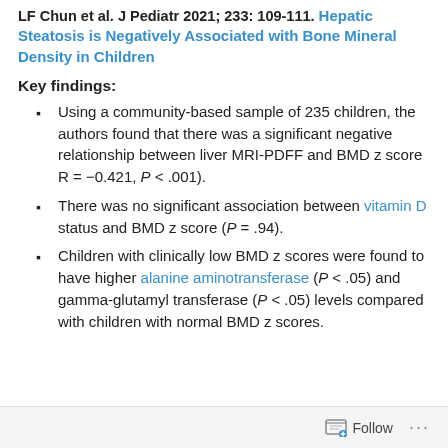LF Chun et al. J Pediatr 2021; 233: 109-111. Hepatic Steatosis is Negatively Associated with Bone Mineral Density in Children
Key findings:
Using a community-based sample of 235 children, the authors found that there was a significant negative relationship between liver MRI-PDFF and BMD z score R = −0.421, P < .001).
There was no significant association between vitamin D status and BMD z score (P = .94).
Children with clinically low BMD z scores were found to have higher alanine aminotransferase (P < .05) and gamma-glutamyl transferase (P < .05) levels compared with children with normal BMD z scores.
Follow